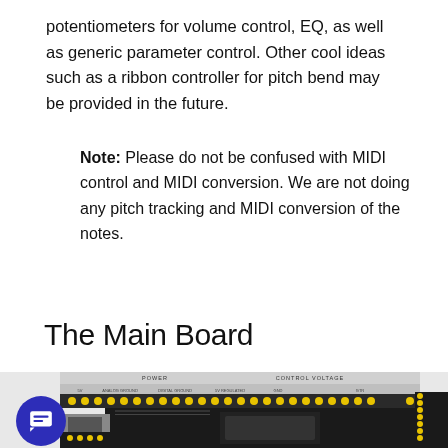potentiometers for volume control, EQ, as well as generic parameter control. Other cool ideas such as a ribbon controller for pitch bend may be provided in the future.
Note: Please do not be confused with MIDI control and MIDI conversion. We are not doing any pitch tracking and MIDI conversion of the notes.
The Main Board
[Figure (photo): Photo of the main circuit board showing power section, control voltage section, audio output connectors, audio/CV selector, and main microcontroller chip on a dark PCB.]